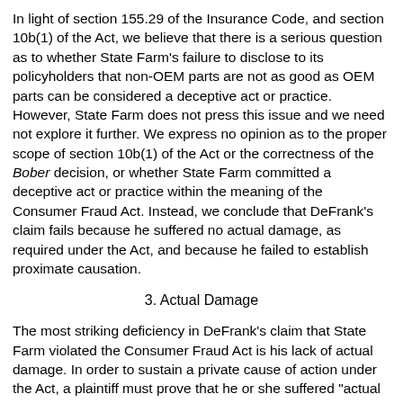In light of section 155.29 of the Insurance Code, and section 10b(1) of the Act, we believe that there is a serious question as to whether State Farm's failure to disclose to its policyholders that non-OEM parts are not as good as OEM parts can be considered a deceptive act or practice. However, State Farm does not press this issue and we need not explore it further. We express no opinion as to the proper scope of section 10b(1) of the Act or the correctness of the Bober decision, or whether State Farm committed a deceptive act or practice within the meaning of the Consumer Fraud Act. Instead, we conclude that DeFrank's claim fails because he suffered no actual damage, as required under the Act, and because he failed to establish proximate causation.
3. Actual Damage
The most striking deficiency in DeFrank's claim that State Farm violated the Consumer Fraud Act is his lack of actual damage. In order to sustain a private cause of action under the Act, a plaintiff must prove that he or she suffered "actual damage as a result of a violation of [the] Act." 815 ILCS 505/10a(a) (West 1996); Oliveira, 201 Ill. 2d at 148-49.(11) In this case, DeFrank did not suffer any damage as a result of State Farm's specification or use of non-OEM parts.